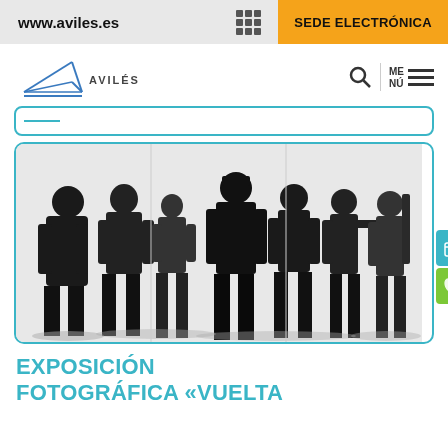www.aviles.es | SEDE ELECTRÓNICA
[Figure (logo): Avilés city logo with stylized compass/arrow graphic and text AVILÉS]
[Figure (photo): Black and white photograph showing silhouettes of several people standing, some holding objects, against a white background — artistic exhibition photograph]
EXPOSICIÓN FOTOGRÁFICA «VUELTA